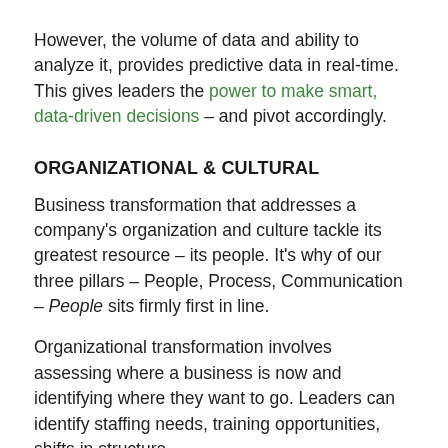However, the volume of data and ability to analyze it, provides predictive data in real-time. This gives leaders the power to make smart, data-driven decisions – and pivot accordingly.
ORGANIZATIONAL & CULTURAL
Business transformation that addresses a company's organization and culture tackle its greatest resource – its people. It's why of our three pillars – People, Process, Communication – People sits firmly first in line.
Organizational transformation involves assessing where a business is now and identifying where they want to go. Leaders can identify staffing needs, training opportunities, shifts in structure,